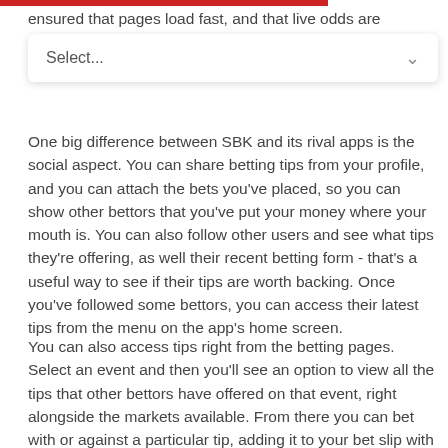ensured that pages load fast, and that live odds are upda… on, you t…
Select...
One big difference between SBK and its rival apps is the social aspect. You can share betting tips from your profile, and you can attach the bets you've placed, so you can show other bettors that you've put your money where your mouth is. You can also follow other users and see what tips they're offering, as well their recent betting form - that's a useful way to see if their tips are worth backing. Once you've followed some bettors, you can access their latest tips from the menu on the app's home screen.
You can also access tips right from the betting pages. Select an event and then you'll see an option to view all the tips that other bettors have offered on that event, right alongside the markets available. From there you can bet with or against a particular tip, adding it to your bet slip with one tap, and you can